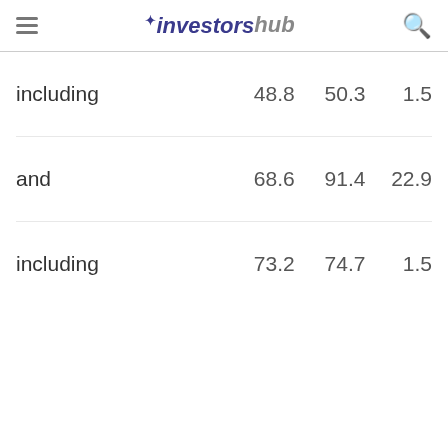investorshub
|  |  |  |  |
| --- | --- | --- | --- |
| including | 48.8 | 50.3 | 1.5 |
| and | 68.6 | 91.4 | 22.9 |
| including | 73.2 | 74.7 | 1.5 |